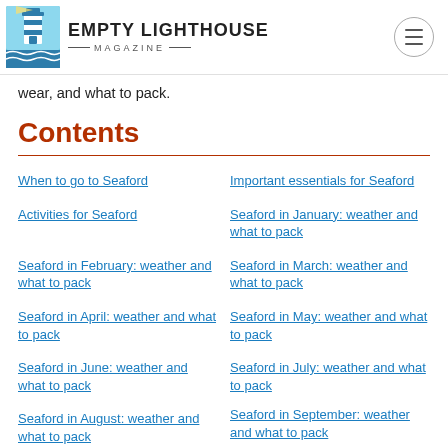Empty Lighthouse Magazine
wear, and what to pack.
Contents
When to go to Seaford
Important essentials for Seaford
Activities for Seaford
Seaford in January: weather and what to pack
Seaford in February: weather and what to pack
Seaford in March: weather and what to pack
Seaford in April: weather and what to pack
Seaford in May: weather and what to pack
Seaford in June: weather and what to pack
Seaford in July: weather and what to pack
Seaford in August: weather and what to pack
Seaford in September: weather and what to pack